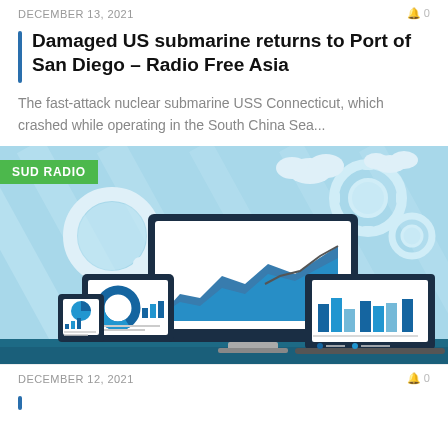DECEMBER 13, 2021   🔔 0
Damaged US submarine returns to Port of San Diego – Radio Free Asia
The fast-attack nuclear submarine USS Connecticut, which crashed while operating in the South China Sea...
[Figure (illustration): SUD RADIO branded illustration showing analytics dashboards on multiple devices (desktop monitor, tablet, phone) with charts, graphs, magnifying glass, gears and cloud icons on a light blue background]
DECEMBER 12, 2021   🔔 0